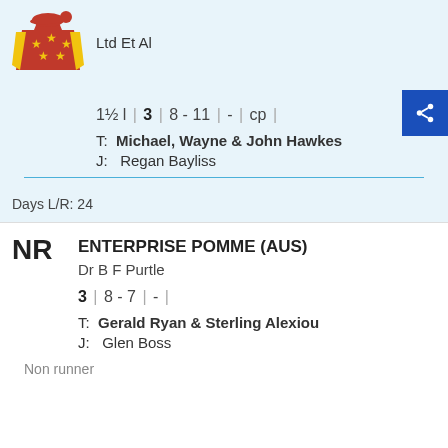[Figure (illustration): Jockey silks: red with yellow stars pattern, yellow sleeves, red cap with red ball]
Ltd Et Al
1½ l | 3 | 8 - 11 | - | cp |
T:  Michael, Wayne & John Hawkes
J:  Regan Bayliss
Days L/R: 24
NR
ENTERPRISE POMME (AUS)
Dr B F Purtle
3 | 8 - 7 | - |
T:  Gerald Ryan & Sterling Alexiou
J:  Glen Boss
Non runner